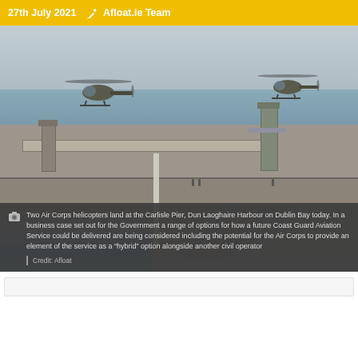27th July 2021  Afloat.ie Team
[Figure (photo): Two Air Corps helicopters flying over Carlisle Pier, Dun Laoghaire Harbour on Dublin Bay. The image shows a harbour pier with bridge structures and breakwater, two military helicopters in flight, overcast sky, and water in the foreground.]
Two Air Corps helicopters land at the Carlisle Pier, Dun Laoghaire Harbour on Dublin Bay today. In a business case set out for the Government a range of options for how a future Coast Guard Aviation Service could be delivered are being considered including the potential for the Air Corps to provide an element of the service as a “hybrid” option alongside another civil operator
Credit: Afloat